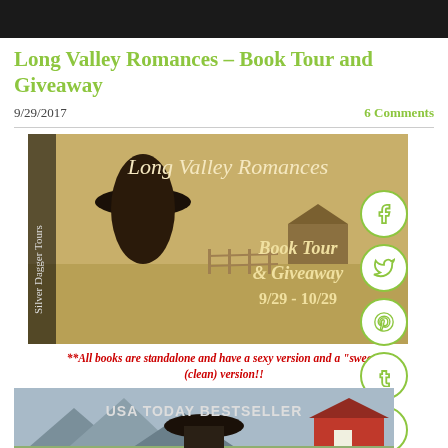Long Valley Romances – Book Tour and Giveaway
9/29/2017
6 Comments
[Figure (illustration): Long Valley Romances Book Tour & Giveaway banner image featuring a cowboy with a black hat in front of a rural farm scene. Text reads: Long Valley Romances, Book Tour & Giveaway, 9/29 - 10/29. Silver Dagger Tours logo on left side.]
**All books are standalone and have a sexy version and a "sweet" (clean) version!!
[Figure (illustration): Bottom portion of a book cover showing USA TODAY BESTSELLER text over a rural/mountain scene with a red barn and a figure in a cowboy hat.]